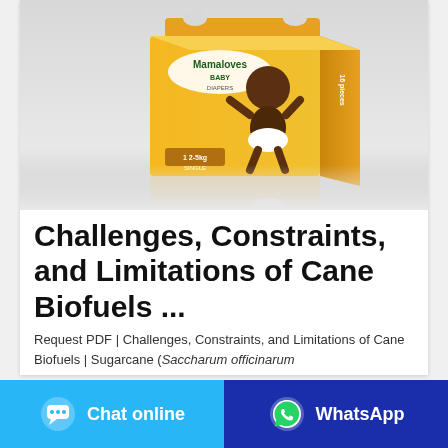[Figure (photo): Product photo of Mamaloves Baby Diapers packaging (yellow box) with a baby standing in front of it, shown on a light gray background with a reflection.]
Challenges, Constraints, and Limitations of Cane Biofuels ...
Request PDF | Challenges, Constraints, and Limitations of Cane Biofuels | Sugarcane (Saccharum officinarum